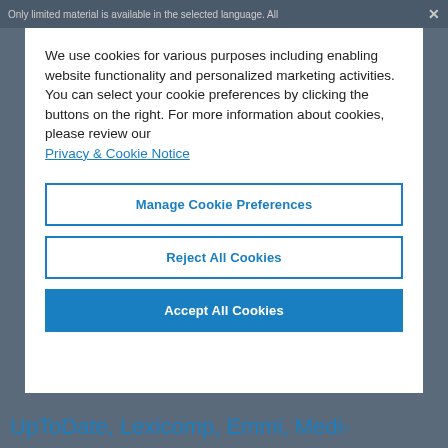Only limited material is available in the selected language. All
We use cookies for various purposes including enabling website functionality and personalized marketing activities. You can select your cookie preferences by clicking the buttons on the right. For more information about cookies, please review our Privacy & Cookie Notice
Manage Cookie Preferences
Reject All Cookies
Accept All Cookies
UpToDate, Lexicomp, Emmi, Medi-